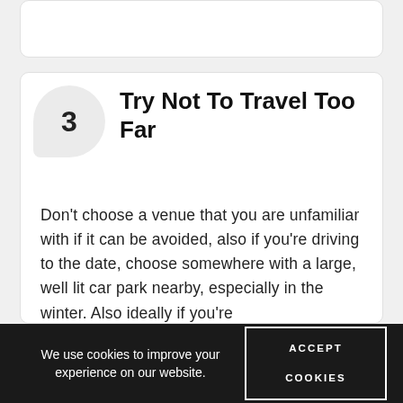3 Try Not To Travel Too Far
Don't choose a venue that you are unfamiliar with if it can be avoided, also if you're driving to the date, choose somewhere with a large, well lit car park nearby, especially in the winter. Also ideally if you're
We use cookies to improve your experience on our website. ACCEPT COOKIES